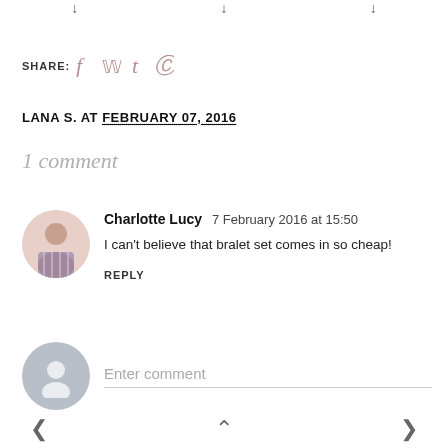SHARE: [social icons: f t p]
LANA S. AT FEBRUARY 07, 2016
1 comment
Charlotte Lucy  7 February 2016 at 15:50
I can't believe that bralet set comes in so cheap!
REPLY
Enter comment
< (home icon) >